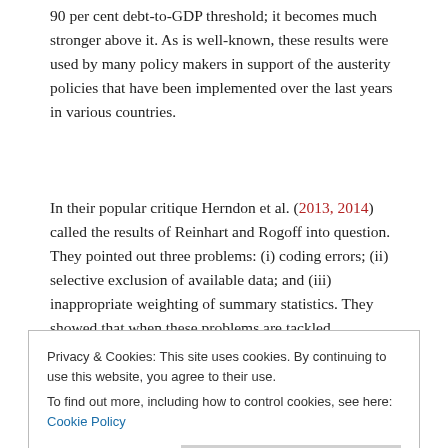90 per cent debt-to-GDP threshold; it becomes much stronger above it. As is well-known, these results were used by many policy makers in support of the austerity policies that have been implemented over the last years in various countries.
In their popular critique Herndon et al. (2013, 2014) called the results of Reinhart and Rogoff into question. They pointed out three problems: (i) coding errors; (ii) selective exclusion of available data; and (iii) inappropriate weighting of summary statistics. They showed that when these problems are tackled, economic growth does not
Privacy & Cookies: This site uses cookies. By continuing to use this website, you agree to their use.
To find out more, including how to control cookies, see here: Cookie Policy
corrected estimations according to which the negative relationship